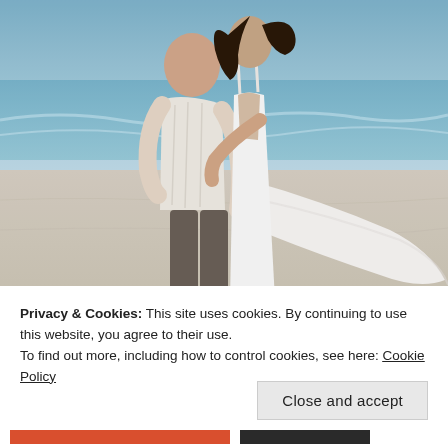[Figure (photo): A couple embracing on a beach. The man is wearing a white shirt and dark gray trousers with dark shoes, facing away from camera. The woman is wearing a white wedding dress with a long flowing train, her dark hair blowing in the wind. Sandy beach with ocean waves in the background.]
Privacy & Cookies: This site uses cookies. By continuing to use this website, you agree to their use.
To find out more, including how to control cookies, see here: Cookie Policy
Close and accept